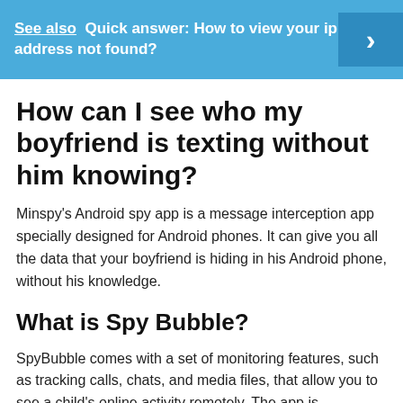[Figure (screenshot): Blue banner with text 'See also  Quick answer: How to view your ip address not found?' and a right-pointing chevron arrow on a darker blue background on the right side.]
How can I see who my boyfriend is texting without him knowing?
Minspy's Android spy app is a message interception app specially designed for Android phones. It can give you all the data that your boyfriend is hiding in his Android phone, without his knowledge.
What is Spy Bubble?
SpyBubble comes with a set of monitoring features, such as tracking calls, chats, and media files, that allow you to see a child's online activity remotely. The app is compatible with